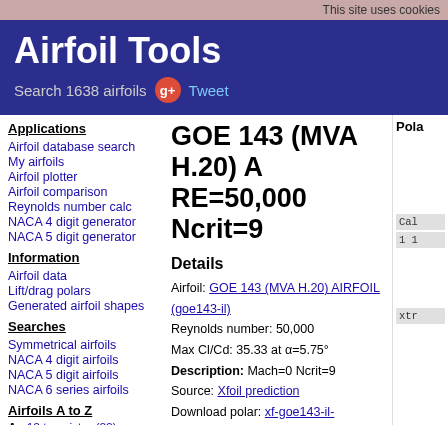This site uses cookies
Airfoil Tools
Search 1638 airfoils  Tweet
Applications
Airfoil database search
My airfoils
Airfoil plotter
Airfoil comparison
Reynolds number calc
NACA 4 digit generator
NACA 5 digit generator
Information
Airfoil data
Lift/drag polars
Generated airfoil shapes
Searches
Symmetrical airfoils
NACA 4 digit airfoils
NACA 5 digit airfoils
NACA 6 series airfoils
Airfoils A to Z
A a18 to avistar (88)
B b29root to hw3 (22)
GOE 143 (MVA H.20) A RE=50,000 Ncrit=9
Details
Airfoil: GOE 143 (MVA H.20) AIRFOIL (goe143-il)
Reynolds number: 50,000
Max Cl/Cd: 35.33 at α=5.75°
Description: Mach=0 Ncrit=9
Source: Xfoil prediction
Download polar: xf-goe143-il-50000.txt
Download as CSV file: xf-goe143-il-50000.csv
Pola
Cal
1 1
xtr